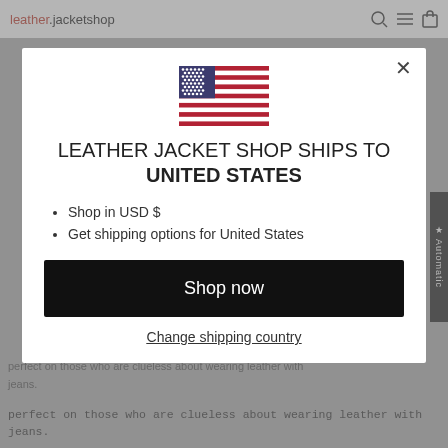leather.jacketshop
[Figure (screenshot): Modal popup on leatherjacketshop.com showing a US flag, shipping destination message, currency info, and shop now button]
LEATHER JACKET SHOP SHIPS TO UNITED STATES
Shop in USD $
Get shipping options for United States
Shop now
Change shipping country
perfect on those who are clueless about wearing leather with jeans.